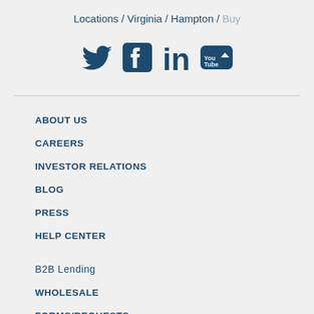Locations / Virginia / Hampton / Buy
[Figure (infographic): Social media icons: Twitter, Facebook, LinkedIn, YouTube]
ABOUT US
CAREERS
INVESTOR RELATIONS
BLOG
PRESS
HELP CENTER
B2B Lending
WHOLESALE
FORMS/REQUESTS